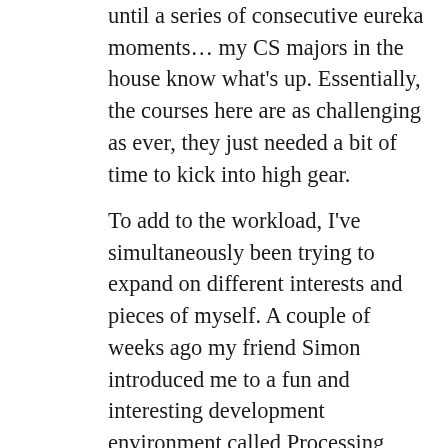until a series of consecutive eureka moments… my CS majors in the house know what's up. Essentially, the courses here are as challenging as ever, they just needed a bit of time to kick into high gear.
To add to the workload, I've simultaneously been trying to expand on different interests and pieces of myself. A couple of weeks ago my friend Simon introduced me to a fun and interesting development environment called Processing, which allows you to build and view graphics simulations of physical phenomena in real time. I became obsessed fairly quickly, and built myself a double-rod pendulum simulator, something I'm fascinated with because of the underlying